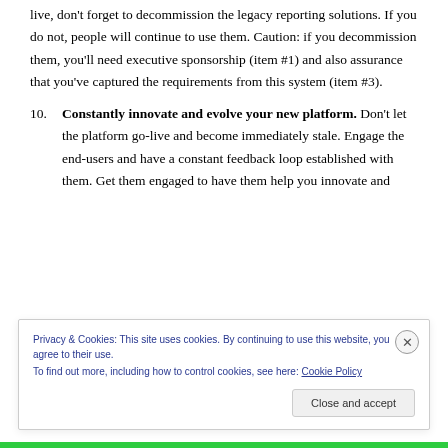live, don't forget to decommission the legacy reporting solutions.  If you do not, people will continue to use them.  Caution:  if you decommission them, you'll need executive sponsorship (item #1) and also assurance that you've captured the requirements from this system (item #3).
10. Constantly innovate and evolve your new platform.  Don't let the platform go-live and become immediately stale.  Engage the end-users and have a constant feedback loop established with them.  Get them engaged to have them help you innovate and
Privacy & Cookies: This site uses cookies. By continuing to use this website, you agree to their use.
To find out more, including how to control cookies, see here: Cookie Policy
Close and accept